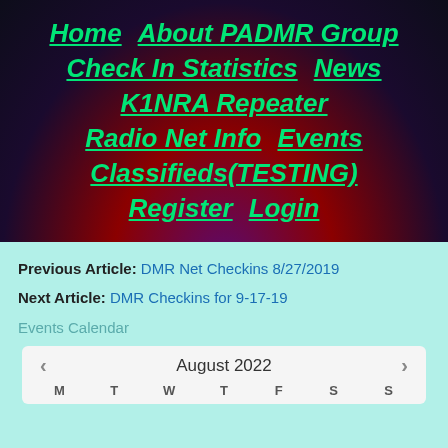Home   About PADMR Group   Check In Statistics   News   K1NRA Repeater   Radio Net Info   Events   Classifieds(TESTING)   Register   Login
Previous Article: DMR Net Checkins 8/27/2019
Next Article: DMR Checkins for 9-17-19
Events Calendar
[Figure (other): Events Calendar widget showing August 2022 with navigation arrows and day headers M T W T F S S]